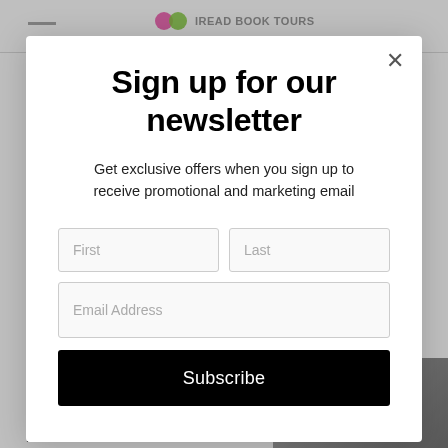[Figure (screenshot): Background webpage with logo bar at top and article text with portrait photo at the bottom]
Sign up for our newsletter
Get exclusive offers when you sign up to receive promotional and marketing email
First
Last
Email Address
Subscribe
was formerly a public relations executive who had